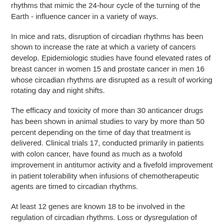rhythms that mimic the 24-hour cycle of the turning of the Earth - influence cancer in a variety of ways.
In mice and rats, disruption of circadian rhythms has been shown to increase the rate at which a variety of cancers develop. Epidemiologic studies have found elevated rates of breast cancer in women 15 and prostate cancer in men 16 whose circadian rhythms are disrupted as a result of working rotating day and night shifts.
The efficacy and toxicity of more than 30 anticancer drugs has been shown in animal studies to vary by more than 50 percent depending on the time of day that treatment is delivered. Clinical trials 17, conducted primarily in patients with colon cancer, have found as much as a twofold improvement in antitumor activity and a fivefold improvement in patient tolerability when infusions of chemotherapeutic agents are timed to circadian rhythms.
At least 12 genes are known 18 to be involved in the regulation of circadian rhythms. Loss or dysregulation of circadian genes has been identified in many types of cancer